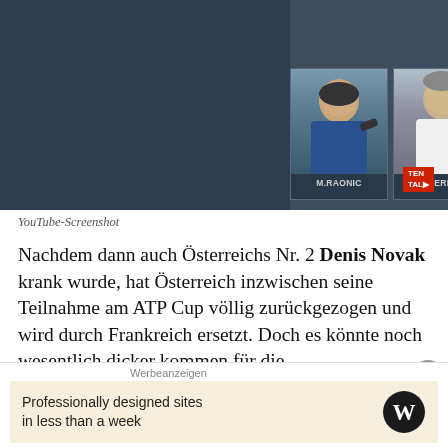[Figure (screenshot): YouTube screenshot showing two tennis players M.Raonic and Ph.Herbert side by side with player name labels and TenPlay logo in bottom right]
YouTube-Screenshot
Nachdem dann auch Österreichs Nr. 2 Denis Novak krank wurde, hat Österreich inzwischen seine Teilnahme am ATP Cup völlig zurückgezogen und wird durch Frankreich ersetzt. Doch es könnte noch wesentlich dicker kommen für die Turnierveranstalter, Fans und Publikum downunder.
Auch hinter den Namen Djokovic und
Werbeanzeigen
Professionally designed sites in less than a week